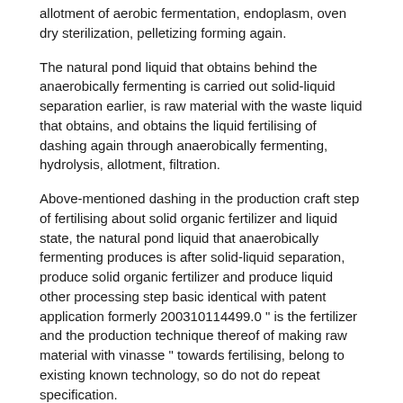allotment of aerobic fermentation, endoplasm, oven dry sterilization, pelletizing forming again.
The natural pond liquid that obtains behind the anaerobically fermenting is carried out solid-liquid separation earlier, is raw material with the waste liquid that obtains, and obtains the liquid fertilising of dashing again through anaerobically fermenting, hydrolysis, allotment, filtration.
Above-mentioned dashing in the production craft step of fertilising about solid organic fertilizer and liquid state, the natural pond liquid that anaerobically fermenting produces is after solid-liquid separation, produce solid organic fertilizer and produce liquid other processing step basic identical with patent application formerly 200310114499.0 " is the fertilizer and the production technique thereof of making raw material with vinasse " towards fertilising, belong to existing known technology, so do not do repeat specification.
Technology of producing biogas with the urban life organic waste disclosed in this invention, can be in enormous quantities to the organic waste that urban life produces